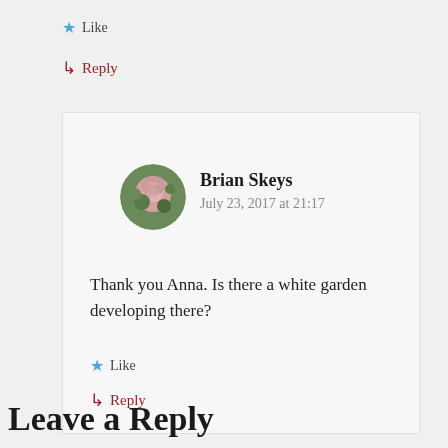Like
Reply
Brian Skeys
July 23, 2017 at 21:17
Thank you Anna. Is there a white garden developing there?
Like
Reply
Leave a Reply